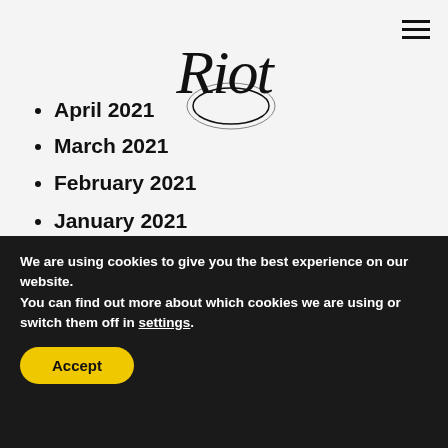[Figure (logo): Riot script/calligraphy logo in black]
April 2021
March 2021
February 2021
January 2021
December 2020
November 2020
September 2020
August 2020
July 2020
June 2020
May 2020
We are using cookies to give you the best experience on our website.
You can find out more about which cookies we are using or switch them off in settings.